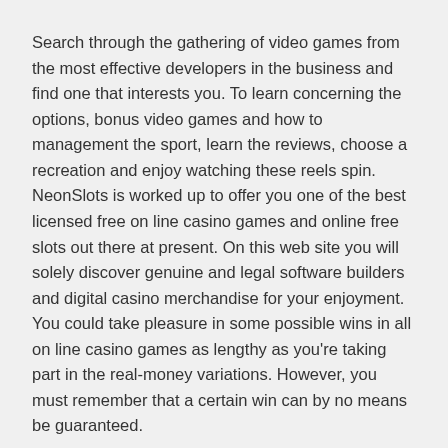Search through the gathering of video games from the most effective developers in the business and find one that interests you. To learn concerning the options, bonus video games and how to management the sport, learn the reviews, choose a recreation and enjoy watching these reels spin. NeonSlots is worked up to offer you one of the best licensed free on line casino games and online free slots out there at present. On this web site you will solely discover genuine and legal software builders and digital casino merchandise for your enjoyment. You could take pleasure in some possible wins in all on line casino games as lengthy as you're taking part in the real-money variations. However, you must remember that a certain win can by no means be guaranteed.
Video slots – These often have probably the most new slot video games obtainable to play with plenty of bonus options and deposit match options we don't supply free slot games at present. Step into a world of marvellous